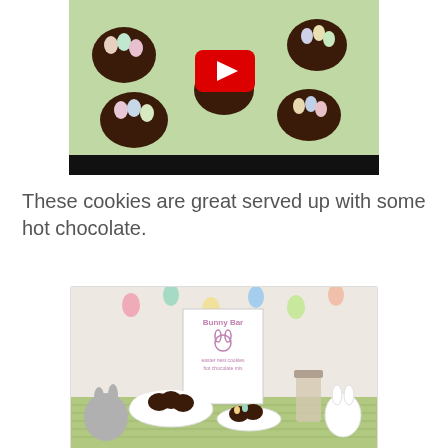[Figure (screenshot): YouTube video thumbnail showing chocolate Easter nest cookies topped with colorful candy eggs, on a pastel Easter-themed background. A red YouTube play button is centered on the image, with a black progress bar at the bottom.]
These cookies are great served up with some hot chocolate.
[Figure (photo): Photo of a Bunny Bar display table with chocolate Easter nest cookies in a white bowl and on a plate, a framed 'Bunny Bar' sign with a bunny illustration, jars of hot chocolate mix, white bunny figurines, and colorful Easter egg decorations hanging in the background. The table is covered with a green gingham tablecloth.]